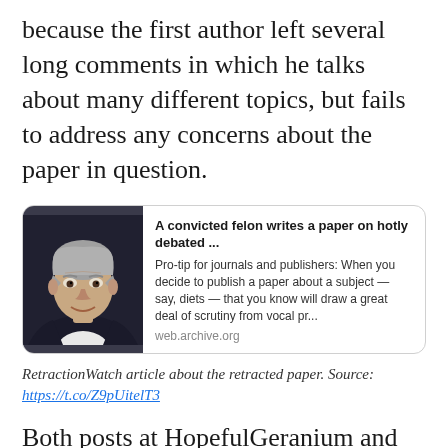because the first author left several long comments in which he talks about many different topics, but fails to address any concerns about the paper in question.
[Figure (other): Link preview card showing an article titled 'A convicted felon writes a paper on hotly debated ...' from web.archive.org, with a photo of an older grey-haired man on the left side. The preview text reads: 'Pro-tip for journals and publishers: When you decide to publish a paper about a subject — say, diets — that you know will draw a great deal of scrutiny from vocal pr...']
RetractionWatch article about the retracted paper. Source: https://t.co/Z9pUitelT3
Both posts at HopefulGeranium and RetractionWatch reported that the first author has admitted to data fraud before, that he has been convicted of medical billing fraud (a